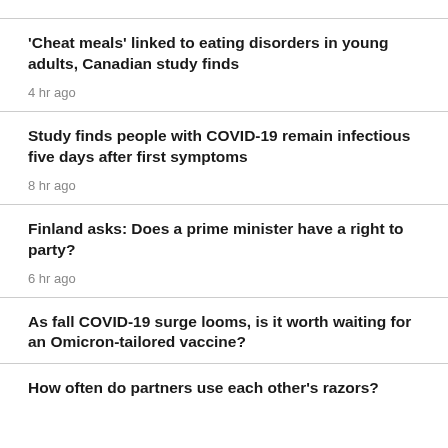'Cheat meals' linked to eating disorders in young adults, Canadian study finds
4 hr ago
Study finds people with COVID-19 remain infectious five days after first symptoms
8 hr ago
Finland asks: Does a prime minister have a right to party?
6 hr ago
As fall COVID-19 surge looms, is it worth waiting for an Omicron-tailored vaccine?
How often do partners use each other's razors?